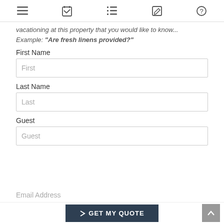[Figure (screenshot): Navigation bar with five icons: hamburger menu, calendar/checklist, list, edit/pencil, and help/question mark]
vacationing at this property that you would like to know...
Example: "Are fresh linens provided?"
First Name
First
Last Name
Last
Guest
Guest
Email Address
GET MY QUOTE